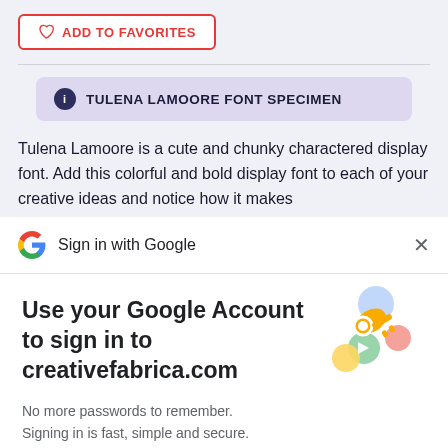[Figure (screenshot): Add to Favorites button with heart icon, red border, on light purple-gray website background]
[Figure (screenshot): Font specimen banner: info icon and text 'TULENA LAMOORE FONT SPECIMEN' on purple background]
Tulena Lamoore is a cute and chunky charactered display font. Add this colorful and bold display font to each of your creative ideas and notice how it makes
[Figure (screenshot): Google Sign in with Google header bar with Google G logo and X close button]
Use your Google Account to sign in to creativefabrica.com
No more passwords to remember.
Signing in is fast, simple and secure.
[Figure (illustration): Key and colorful circles/icons illustration for Google sign-in]
[Figure (screenshot): Blue Continue button for Google sign-in]
[Figure (screenshot): Green bottom bar]